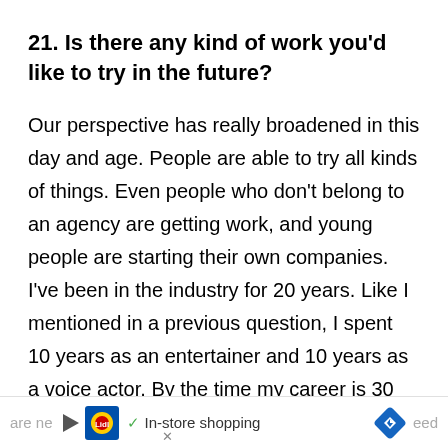21. Is there any kind of work you'd like to try in the future?
Our perspective has really broadened in this day and age. People are able to try all kinds of things. Even people who don't belong to an agency are getting work, and young people are starting their own companies. I've been in the industry for 20 years. Like I mentioned in a previous question, I spent 10 years as an entertainer and 10 years as a voice actor. By the time my career is 30 years old, I'd like to have done something new and broadened my horizons. There are ne...
are ne ▶ [Lidl logo] ✓ In-store shopping [nav icon] eed